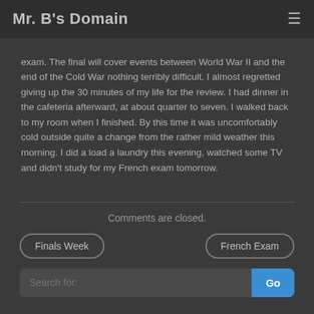Mr. B's Domain
exam. The final will cover events between World War II and the end of the Cold War nothing terribly difficult. I almost regretted giving up the 30 minutes of my life for the review. I had dinner in the cafeteria afterward, at about quarter to seven. I walked back to my room when I finished. By this time it was uncomfortably cold outside quite a change from the rather mild weather this morning. I did a load a laundry this evening, watched some TV and didn't study for my French exam tomorrow.
Comments are closed.
Finals Week
French Exam